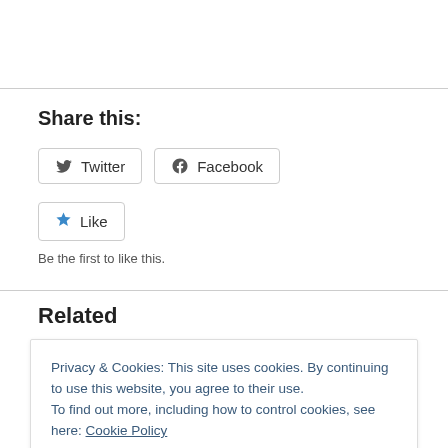Share this:
Twitter
Facebook
Like
Be the first to like this.
Related
Privacy & Cookies: This site uses cookies. By continuing to use this website, you agree to their use.
To find out more, including how to control cookies, see here: Cookie Policy
Close and accept
March 31, 2009